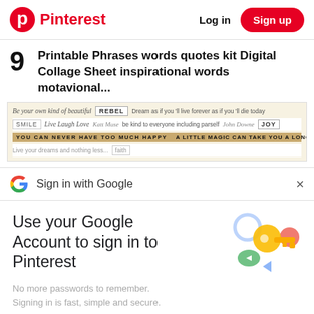Pinterest  Log in  Sign up
9  Printable Phrases words quotes kit Digital Collage Sheet inspirational words motavional...
[Figure (photo): Printable phrases collage sheet showing inspirational quotes and words like 'Be your own kind of beautiful', 'REBEL', 'SMILE', 'Live Laugh Love', 'JOY', 'YOU CAN NEVER HAVE TOO MUCH HAPPY', 'A LITTLE MAGIC CAN TAKE YOU A LONG WAY']
Sign in with Google
Use your Google Account to sign in to Pinterest
No more passwords to remember. Signing in is fast, simple and secure.
Continue